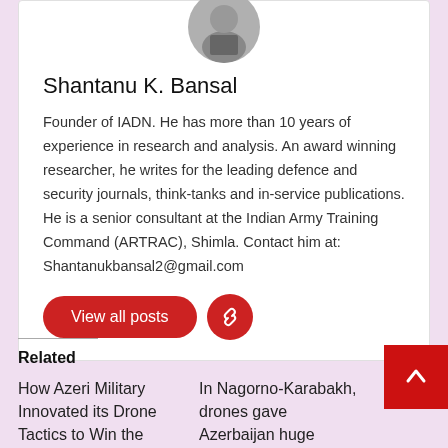[Figure (photo): Circular profile photo of Shantanu K. Bansal]
Shantanu K. Bansal
Founder of IADN. He has more than 10 years of experience in research and analysis. An award winning researcher, he writes for the leading defence and security journals, think-tanks and in-service publications. He is a senior consultant at the Indian Army Training Command (ARTRAC), Shimla. Contact him at: Shantanukbansal2@gmail.com
Related
How Azeri Military Innovated its Drone Tactics to Win the Nagorno-
In Nagorno-Karabakh, drones gave Azerbaijan huge advantage and